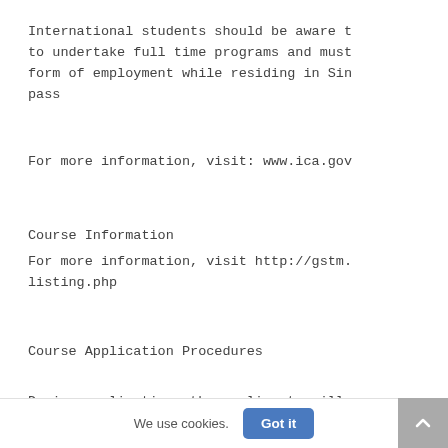International students should be aware t to undertake full time programs and must form of employment while residing in Sin pass
For more information, visit: www.ica.gov
Course Information
For more information, visit http://gstm. listing.php
Course Application Procedures
During application, the applicants will
We use cookies.